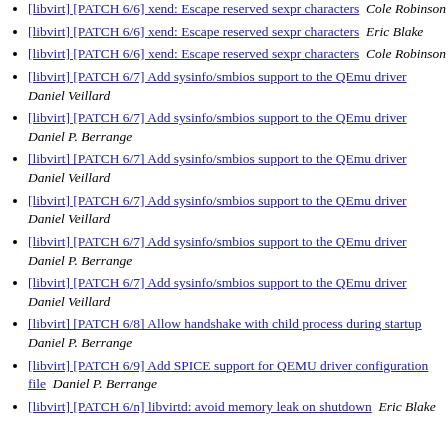[libvirt] [PATCH 6/6] xend: Escape reserved sexpr characters  Cole Robinson
[libvirt] [PATCH 6/6] xend: Escape reserved sexpr characters  Eric Blake
[libvirt] [PATCH 6/6] xend: Escape reserved sexpr characters  Cole Robinson
[libvirt] [PATCH 6/7] Add sysinfo/smbios support to the QEmu driver  Daniel Veillard
[libvirt] [PATCH 6/7] Add sysinfo/smbios support to the QEmu driver  Daniel P. Berrange
[libvirt] [PATCH 6/7] Add sysinfo/smbios support to the QEmu driver  Daniel Veillard
[libvirt] [PATCH 6/7] Add sysinfo/smbios support to the QEmu driver  Daniel Veillard
[libvirt] [PATCH 6/7] Add sysinfo/smbios support to the QEmu driver  Daniel P. Berrange
[libvirt] [PATCH 6/7] Add sysinfo/smbios support to the QEmu driver  Daniel Veillard
[libvirt] [PATCH 6/8] Allow handshake with child process during startup  Daniel P. Berrange
[libvirt] [PATCH 6/9] Add SPICE support for QEMU driver configuration file  Daniel P. Berrange
[libvirt] [PATCH 6/n] libvirtd: avoid memory leak on shutdown  Eric Blake